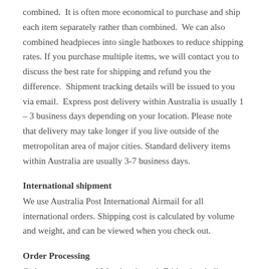combined. It is often more economical to purchase and ship each item separately rather than combined. We can also combined headpieces into single hatboxes to reduce shipping rates. If you purchase multiple items, we will contact you to discuss the best rate for shipping and refund you the difference. Shipment tracking details will be issued to you via email. Express post delivery within Australia is usually 1 – 3 business days depending on your location. Please note that delivery may take longer if you live outside of the metropolitan area of major cities. Standard delivery items within Australia are usually 3-7 business days.
International shipment
We use Australia Post International Airmail for all international orders. Shipping cost is calculated by volume and weight, and can be viewed when you check out.
Order Processing
Orders are processed Monday through Friday (excluding public holidays) and are shipped within 48 hours of placement, subject to the